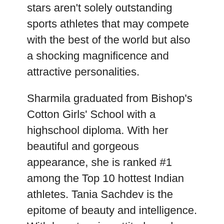stars aren't solely outstanding sports athletes that may compete with the best of the world but also a shocking magnificence and attractive personalities.
Sharmila graduated from Bishop's Cotton Girls' School with a highschool diploma. With her beautiful and gorgeous appearance, she is ranked #1 among the Top 10 hottest Indian athletes. Tania Sachdev is the epitome of beauty and intelligence. With her stunning attitude and curvaceous hair, she is rated 7th among the Top 10 hottest Indian athletes. She is a superb mixture of beauty and talent, incomes her ninth spot in the prime ten hottest female Indian athletes. When Sunita Rao steps onto the tennis court docket, the temperature rises. Despite the truth that she has been retired for greater than a decade, Sunita continues to be ranked 10th among the hottest Indian female athletes because of her appears and elegance.
Nehru Nagar is definitely one of the best romantic...